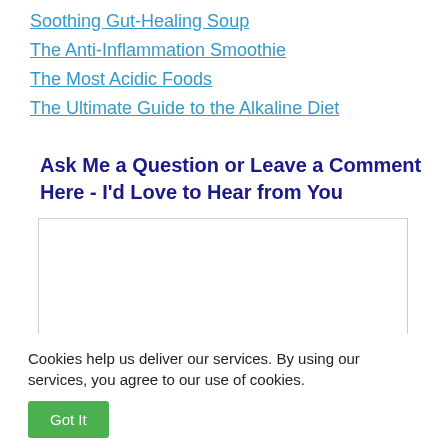Soothing Gut-Healing Soup
The Anti-Inflammation Smoothie
The Most Acidic Foods
The Ultimate Guide to the Alkaline Diet
Ask Me a Question or Leave a Comment Here - I'd Love to Hear from You
[Figure (other): Comment text area input box]
Cookies help us deliver our services. By using our services, you agree to our use of cookies.